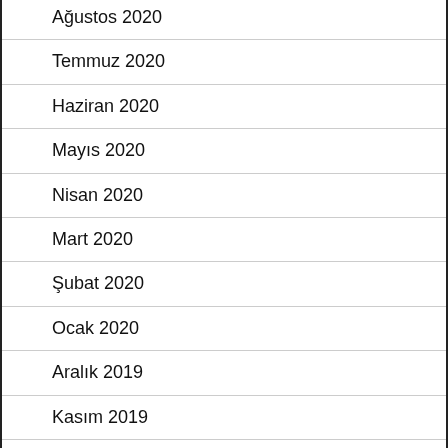Ağustos 2020
Temmuz 2020
Haziran 2020
Mayıs 2020
Nisan 2020
Mart 2020
Şubat 2020
Ocak 2020
Aralık 2019
Kasım 2019